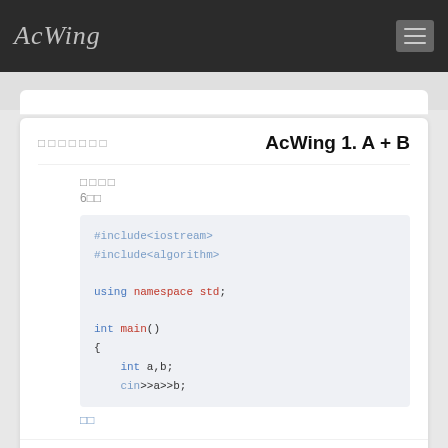AcWing
AcWing 1. A + B
□□□□ 6□□
[Figure (screenshot): Code block showing C++ code: #include<iostream> #include<algorithm> using namespace std; int main() { int a,b; cin>>a>>b;]
□□